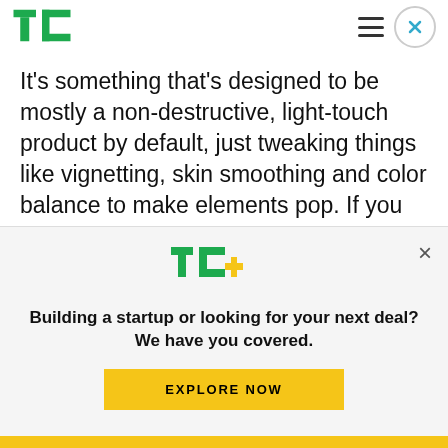TechCrunch
It's something that's designed to be mostly a non-destructive, light-touch product by default, just tweaking things like vignetting, skin smoothing and color balance to make elements pop. If you do a lot of volume image editing, bringing in lots of photos and essentially running the same few tweaks on each, this could be a simple way to replace that with something better, especially in...
[Figure (logo): TC+ logo in green with yellow plus sign]
Building a startup or looking for your next deal? We have you covered.
EXPLORE NOW